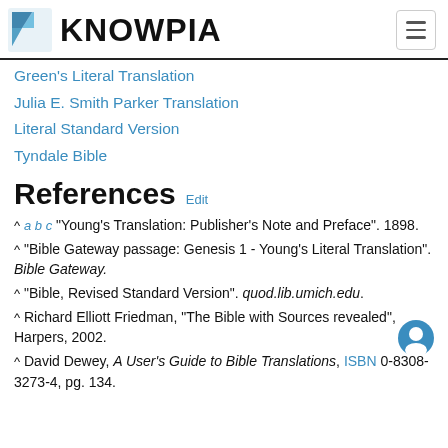KNOWPIA
Green's Literal Translation
Julia E. Smith Parker Translation
Literal Standard Version
Tyndale Bible
References Edit
^ a b c "Young's Translation: Publisher's Note and Preface". 1898.
^ "Bible Gateway passage: Genesis 1 - Young's Literal Translation". Bible Gateway.
^ "Bible, Revised Standard Version". quod.lib.umich.edu.
^ Richard Elliott Friedman, "The Bible with Sources revealed", Harpers, 2002.
^ David Dewey, A User's Guide to Bible Translations, ISBN 0-8308-3273-4, pg. 134.